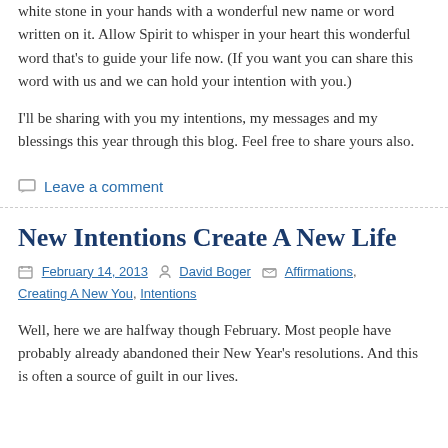white stone in your hands with a wonderful new name or word written on it. Allow Spirit to whisper in your heart this wonderful word that's to guide your life now. (If you want you can share this word with us and we can hold your intention with you.)
I'll be sharing with you my intentions, my messages and my blessings this year through this blog. Feel free to share yours also.
Leave a comment
New Intentions Create A New Life
February 14, 2013   David Boger   Affirmations, Creating A New You, Intentions
Well, here we are halfway though February. Most people have probably already abandoned their New Year's resolutions. And this is often a source of guilt in our lives.